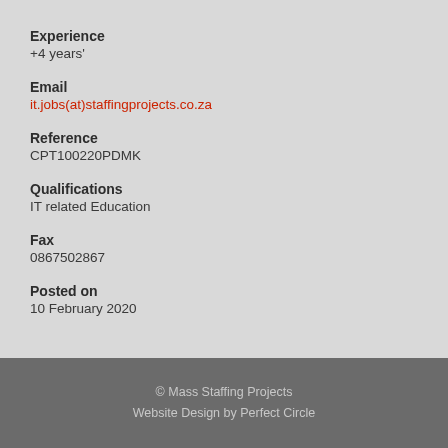Experience
+4 years'
Email
it.jobs(at)staffingprojects.co.za
Reference
CPT100220PDMK
Qualifications
IT related Education
Fax
0867502867
Posted on
10 February 2020
© Mass Staffing Projects
Website Design by Perfect Circle